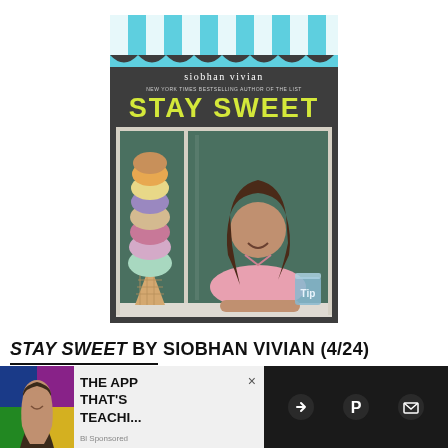[Figure (illustration): Book cover for 'Stay Sweet' by Siobhan Vivian. Features a teenage girl in a pink polo shirt leaning out of an ice cream stand window, smiling. A tall stack of colorful ice cream scoops on a cone is visible on the left side. The background shows a teal/cyan striped awning at the top, and a dark green interior. The title 'STAY SWEET' is in large yellow text, author name in white above it.]
STAY SWEET BY SIOBHAN VIVIAN (4/24)
[Figure (screenshot): Advertisement overlay at the bottom of the page. Shows a dark bar with a colorful photo of a woman on the left, an ad for 'THE APP THAT'S TEACHI...' with a close button (X), and social sharing icons (share, Pinterest, email) on a dark background on the right.]